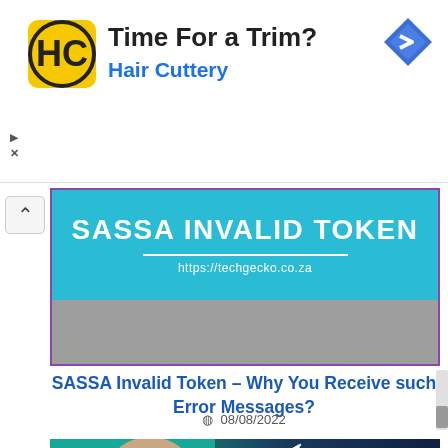[Figure (advertisement): Hair Cuttery ad banner with logo, 'Time For a Trim?' headline, and blue arrow navigation icon]
[Figure (photo): SASSA Invalid Token article featured image with cyan background, bold white text 'SASSA INVALID TOKEN', horizontal rule, URL https://techgecko.co.za, and grey lower half]
SASSA Invalid Token – Why You Receive such Error Messages?
08/08/2022
[Figure (photo): Second article image partially visible showing a woman with pink glasses, a bar chart with upward arrow, and 'SASSA' text on dark teal/navy background]